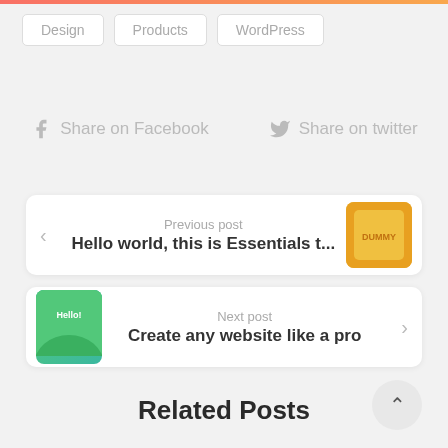Design
Products
WordPress
Share on Facebook
Share on twitter
Previous post
Hello world, this is Essentials t...
Next post
Create any website like a pro
Related Posts